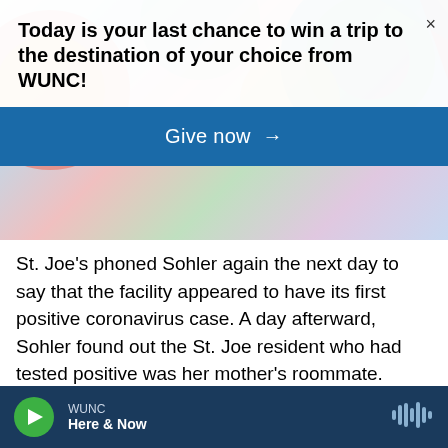Today is your last chance to win a trip to the destination of your choice from WUNC!
Give now →
St. Joe's phoned Sohler again the next day to say that the facility appeared to have its first positive coronavirus case. A day afterward, Sohler found out the St. Joe resident who had tested positive was her mother's roommate.

"I remember calling my sister saying, you know, hopefully we have nothing to worry about," Sohler said. "My mother is very, very resilient. She had been hospitalized three times last year; she
WUNC
Here & Now